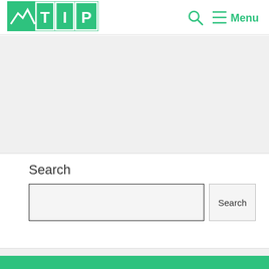[Figure (logo): TIP logo with green background, mountain/chart icon on left, letters T I P in white on green squares]
[Figure (other): Search icon (magnifying glass) and Menu hamburger icon in green in the header navigation]
[Figure (other): Gray advertisement banner area below header]
Search
[Figure (other): Search input text field with border and a Search button to its right]